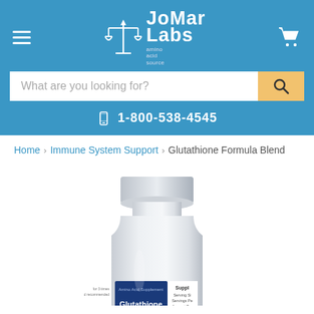[Figure (logo): JoMar Labs logo with scales of justice icon and text 'JoMar Labs amino acid source' on blue header background]
What are you looking for?
1-800-538-4545
Home > Immune System Support > Glutathione Formula Blend
[Figure (photo): White plastic supplement bottle with label reading 'Amino Acid Supplement Glutathione' - JoMar Labs product]